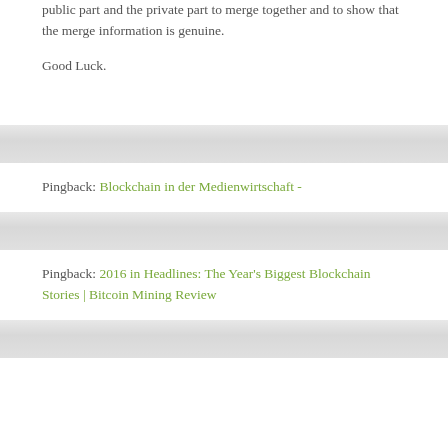public part and the private part to merge together and to show that the merge information is genuine.
Good Luck.
Pingback: Blockchain in der Medienwirtschaft -
Pingback: 2016 in Headlines: The Year's Biggest Blockchain Stories | Bitcoin Mining Review